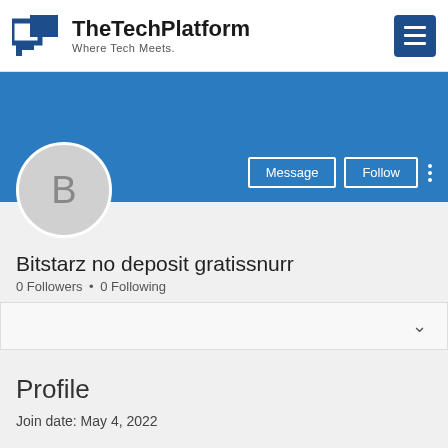TheTechPlatform – Where Tech Meets.
[Figure (screenshot): User profile page for 'Bitstarz no deposit gratissnurr' on TheTechPlatform website, showing a blue banner, avatar with letter B, Message and Follow buttons, 0 Followers and 0 Following stats, a dropdown bar, Profile section with join date May 4, 2022.]
Bitstarz no deposit gratissnurr
0 Followers • 0 Following
Profile
Join date: May 4, 2022